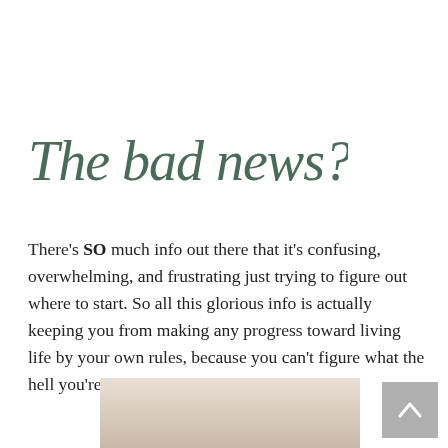The bad news?
There’s SO much info out there that it’s confusing, overwhelming, and frustrating just trying to figure out where to start. So all this glorious info is actually keeping you from making any progress toward living life by your own rules, because you can’t figure what the hell you’re supposed to be doing.
[Figure (photo): Partial photograph visible at the bottom of the page, showing what appears to be a person, cropped and partially visible.]